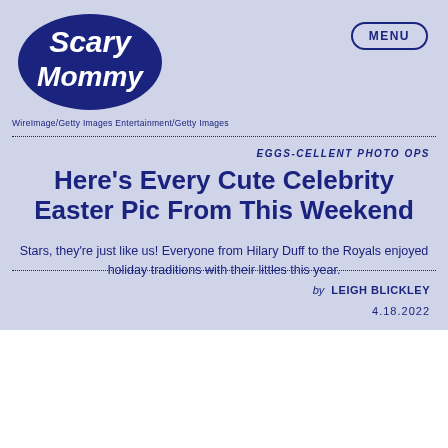[Figure (logo): Scary Mommy logo in dark navy blue bubble lettering on light purple background]
MENU
WireImage/Getty Images Entertainment/Getty Images
EGGS-CELLENT PHOTO OPS
Here's Every Cute Celebrity Easter Pic From This Weekend
Stars, they're just like us! Everyone from Hilary Duff to the Royals enjoyed holiday traditions with their littles this year.
by LEIGH BLICKLEY
4.18.2022
When it came to celebrating Easter, normal American parents